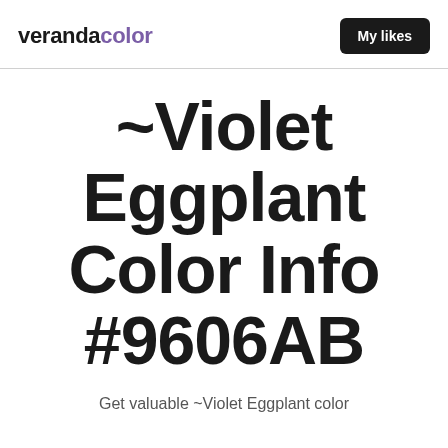verandacolor — My likes
~Violet Eggplant Color Info #9606AB
Get valuable ~Violet Eggplant color